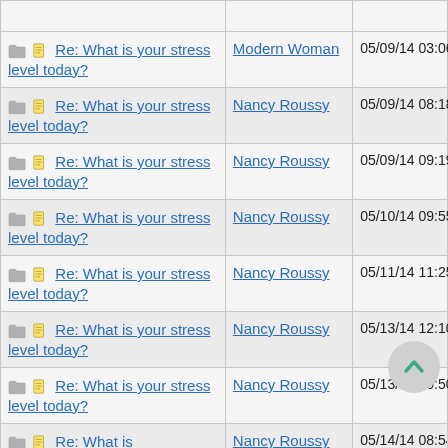| Thread | Author | Date |
| --- | --- | --- |
| Re: What is your stress level today? | Modern Woman | 05/09/14 03:06 AM |
| Re: What is your stress level today? | Nancy Roussy | 05/09/14 08:18 AM |
| Re: What is your stress level today? | Nancy Roussy | 05/09/14 09:19 PM |
| Re: What is your stress level today? | Nancy Roussy | 05/10/14 09:55 PM |
| Re: What is your stress level today? | Nancy Roussy | 05/11/14 11:25 PM |
| Re: What is your stress level today? | Nancy Roussy | 05/13/14 12:10 AM |
| Re: What is your stress level today? | Nancy Roussy | 05/13/14 10:50 PM |
| Re: What is your stress level today? | Nancy Roussy | 05/14/14 08:54 PM |